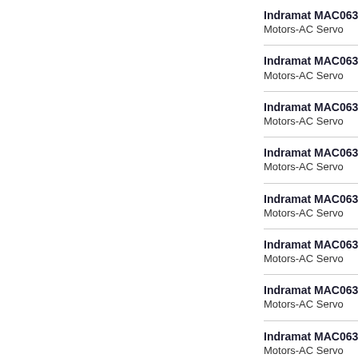Indramat MAC063B-7-GS-4-
Motors-AC Servo
Indramat MAC063B-7-GS-4-
Motors-AC Servo
Indramat MAC063B-7-GS-4-
Motors-AC Servo
Indramat MAC063B-7-GS-4-
Motors-AC Servo
Indramat MAC063B-7-GS-4-
Motors-AC Servo
Indramat MAC063B-7-GS-4-
Motors-AC Servo
Indramat MAC063B-7-GS-4-
Motors-AC Servo
Indramat MAC063B-7-JS-1-
Motors-AC Servo